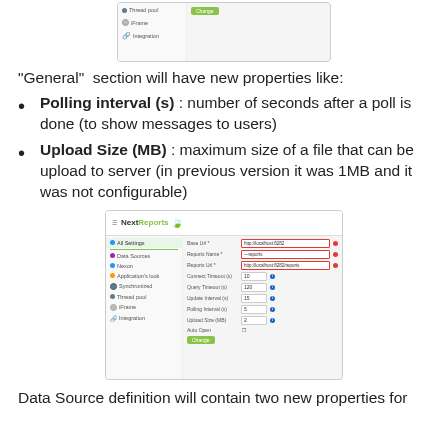[Figure (screenshot): Partial screenshot of NextReports application showing sidebar menu items including Thread pool, iFrame, Integration, with a Change button visible.]
"General" section will have new properties like:
Polling interval (s) : number of seconds after a poll is done (to show messages to users)
Upload Size (MB) : maximum size of a file that can be upload to server (in previous version it was 1MB and it was not configurable)
[Figure (screenshot): Screenshot of NextReports application General settings page showing fields: Base Url, Reports Name, Reports Url, Connect Timeout, Query Timeout, Update Interval, Polling Interval, Upload Size (MB), Auto Open, with a Change button.]
Data Source definition will contain two new properties for